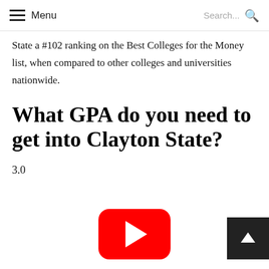Menu | Search...
State a #102 ranking on the Best Colleges for the Money list, when compared to other colleges and universities nationwide.
What GPA do you need to get into Clayton State?
3.0
[Figure (other): YouTube play button icon (red rounded rectangle with white play triangle)]